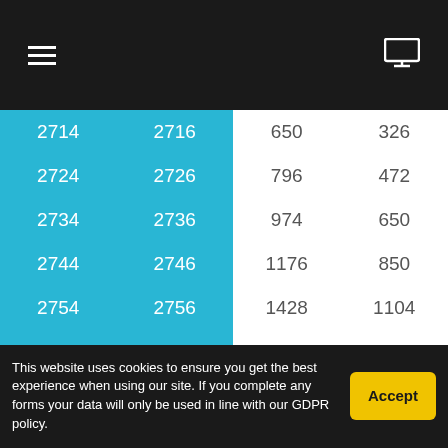Navigation bar with hamburger menu and monitor icon
| Model (90/10 Tubes) | Model (70/30 Tubes) | A | B |
| --- | --- | --- | --- |
| 2714 | 2716 | 650 | 326 |
| 2724 | 2726 | 796 | 472 |
| 2734 | 2736 | 974 | 650 |
| 2744 | 2746 | 1176 | 850 |
| 2754 | 2756 | 1428 | 1104 |
| 2764 | 2766 | 1777 | 1453 |
All dimens
| Model | Model | A | B |
| --- | --- | --- | --- |
| 90/10 Tubes | 70/30 Tubes |  |  |
This website uses cookies to ensure you get the best experience when using our site. If you complete any forms your data will only be used in line with our GDPR policy.